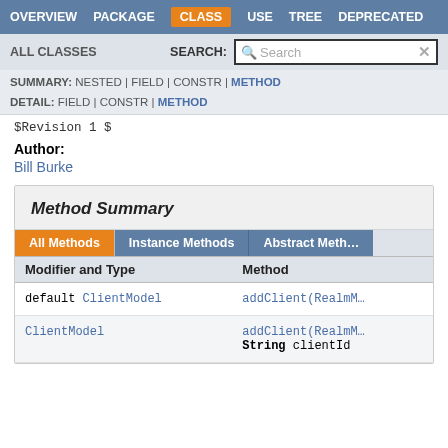OVERVIEW  PACKAGE  CLASS  USE  TREE  DEPRECATED
ALL CLASSES   SEARCH:
SUMMARY: NESTED | FIELD | CONSTR | METHOD
DETAIL: FIELD | CONSTR | METHOD
$Revision 1 $
Author:
Bill Burke
Method Summary
| Modifier and Type | Method |
| --- | --- |
| default ClientModel | addClient(Realm... |
| ClientModel | addClient(Realm...
String clientId |